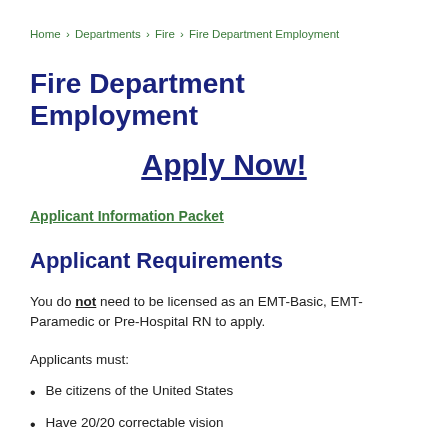Home › Departments › Fire › Fire Department Employment
Fire Department Employment
Apply Now!
Applicant Information Packet
Applicant Requirements
You do not need to be licensed as an EMT-Basic, EMT-Paramedic or Pre-Hospital RN to apply.
Applicants must:
Be citizens of the United States
Have 20/20 correctable vision